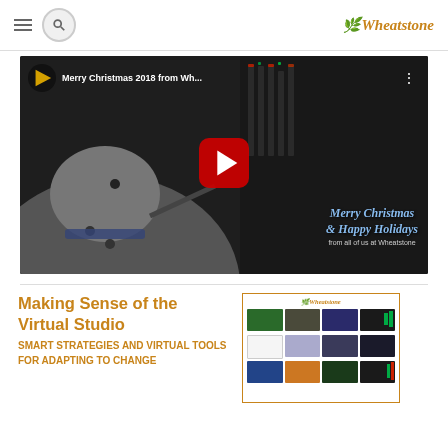Wheatstone navigation header with hamburger menu, search icon, and Wheatstone logo
[Figure (screenshot): YouTube video thumbnail titled 'Merry Christmas 2018 from Wh...' showing an animated snowman with a Wheatstone mixing console in the background, with a red YouTube play button in the center and 'Merry Christmas & Happy Holidays from all of us at Wheatstone' text overlay]
Making Sense of the Virtual Studio
SMART STRATEGIES AND VIRTUAL TOOLS FOR ADAPTING TO CHANGE
[Figure (screenshot): Wheatstone brochure cover showing a grid of product/software screenshots with the Wheatstone logo at the top]